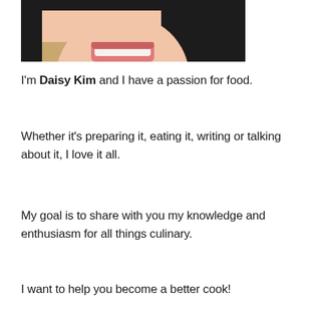[Figure (photo): Close-up photo of a smiling woman with dark hair, cropped to show the lower portion of her face and hair against a warm background.]
I'm Daisy Kim and I have a passion for food.
Whether it's preparing it, eating it, writing or talking about it, I love it all.
My goal is to share with you my knowledge and enthusiasm for all things culinary.
I want to help you become a better cook!